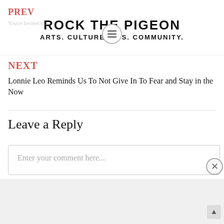ROCK THE PIGEON — ARTS. CULTURE. NEWS. COMMUNITY.
PREV
You're Invited to...
NEXT
Lonnie Leo Reminds Us To Not Give In To Fear and Stay in the Now
Leave a Reply
Enter your comment here...
Advertisements
[Figure (screenshot): DuckDuckGo advertisement banner: orange background with text 'Search, browse, and email with more privacy. All in One Free App' and a smartphone showing the DuckDuckGo app logo.]